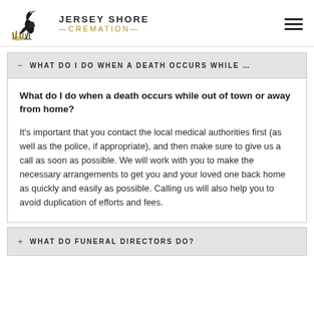JERSEY SHORE CREMATION
WHAT DO I DO WHEN A DEATH OCCURS WHILE ...
What do I do when a death occurs while out of town or away from home?
It's important that you contact the local medical authorities first (as well as the police, if appropriate), and then make sure to give us a call as soon as possible. We will work with you to make the necessary arrangements to get you and your loved one back home as quickly and easily as possible. Calling us will also help you to avoid duplication of efforts and fees.
WHAT DO FUNERAL DIRECTORS DO?